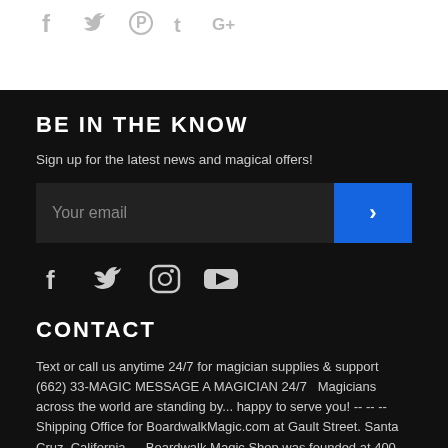[Figure (other): Social media icons (Facebook, Twitter, Pinterest, Tumblr, Google+) in gray on white background]
BE IN THE KNOW
Sign up for the latest news and magical offers!
[Figure (other): Email input field with blue submit arrow button]
[Figure (other): Social media icons: Facebook, Twitter, Instagram, YouTube in gray on black background]
CONTACT
Text or call us anytime 24/7 for magician supplies & support (662) 33-MAGIC MESSAGE A MAGICIAN 24/7   Magicians across the world are standing by... happy to serve you! -- -- -- Shipping Office for BoardwalkMagic.com at Gault Street. Santa Cruz, California --- Boardwalk Magic Shop was founded at 400